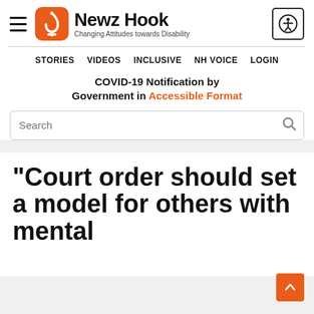[Figure (logo): Newz Hook logo with orange hook icon and tagline 'Changing Attitudes towards Disability']
STORIES   VIDEOS   INCLUSIVE   NH VOICE   LOGIN
COVID-19 Notification by Government in Accessible Format
"Court order should set a model for others with mental